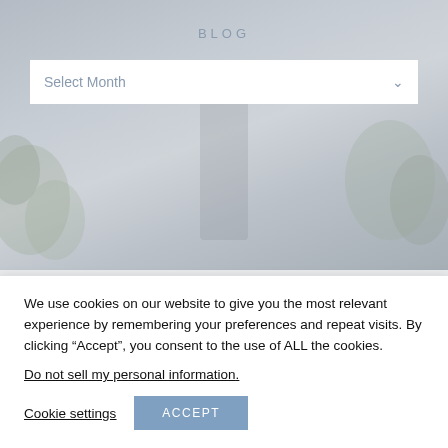BLOG
Select Month
[Figure (illustration): Blurred hero background image with plants and interior elements, blue circle logo partially visible at bottom]
We use cookies on our website to give you the most relevant experience by remembering your preferences and repeat visits. By clicking “Accept”, you consent to the use of ALL the cookies.
Do not sell my personal information.
Cookie settings
ACCEPT